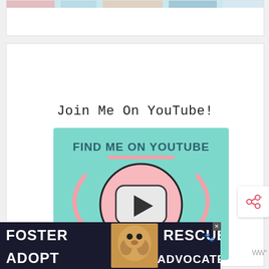[Figure (screenshot): Top portion of a blog card partially visible at the top, showing a colorful image strip]
Join Me On YouTube!
[Figure (illustration): Mint green promotional graphic with text FIND ME ON YOUTUBE, a pink circle with a YouTube play button icon in the center, two curved pink arrows pointing down toward it, a pink horizontal line above, and text CLICK HERE! at the bottom]
[Figure (photo): Advertisement banner at the bottom showing a dog (hound breed) and text FOSTER ADOPT RESCUE ADVOCATE in white bold letters on dark background]